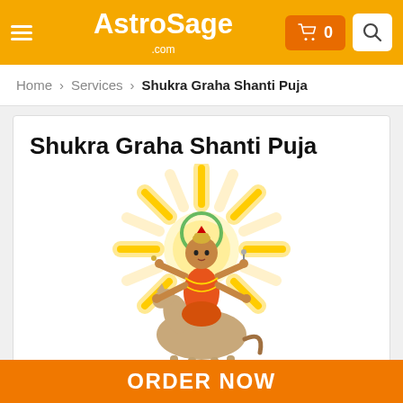AstroSage .com
Home > Services > Shukra Graha Shanti Puja
Shukra Graha Shanti Puja
[Figure (illustration): Hindu deity (Shukra/Venus) seated on a horse, with golden sun rays radiating behind, holding items in multiple hands, dressed in traditional attire]
ORDER NOW